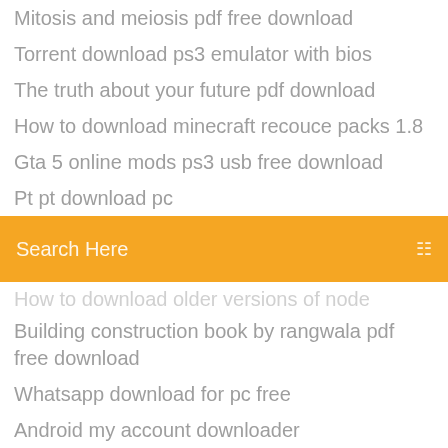Mitosis and meiosis pdf free download
Torrent download ps3 emulator with bios
The truth about your future pdf download
How to download minecraft recouce packs 1.8
Gta 5 online mods ps3 usb free download
Pt pt download pc
[Figure (screenshot): Search bar with orange/amber background color and text 'Search Here' in white]
How to download older versions of node
Building construction book by rangwala pdf free download
Whatsapp download for pc free
Android my account downloader
Ten sports app download for pc
Project qt download apk
Torrent downloading on mac
Invoke-webrequest to download file powershell 5
How to download zip files free
House of the dead 2 pc trainer download
Download es task manager pro apk